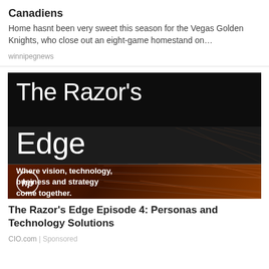Canadiens
Home hasnt been very sweet this season for the Vegas Golden Knights, who close out an eight-game homestand on…
winnipegnews
[Figure (illustration): The Razor's Edge advertisement banner with dark background, grid lines, and warm amber bottom section. Shows title 'The Razor's Edge' in two bands, tagline 'Where vision, technology, business and strategy come together.' and HP logo.]
The Razor's Edge Episode 4: Personas and Technology Solutions
CIO.com | Sponsored